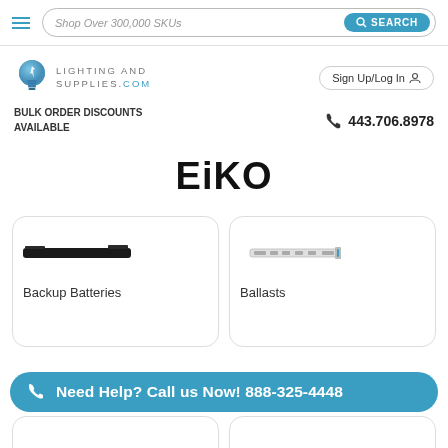Shop Over 300,000 SKUs — SEARCH
[Figure (logo): LightingAndSupplies.com logo with light bulb icon]
Sign Up/Log In
BULK ORDER DISCOUNTS AVAILABLE
443.706.8978
EiKO
[Figure (photo): Backup battery product image — black rectangular battery pack]
Backup Batteries
[Figure (photo): Ballast product image — slim black/white ballast unit]
Ballasts
Need Help? Call us Now! 888-325-4448